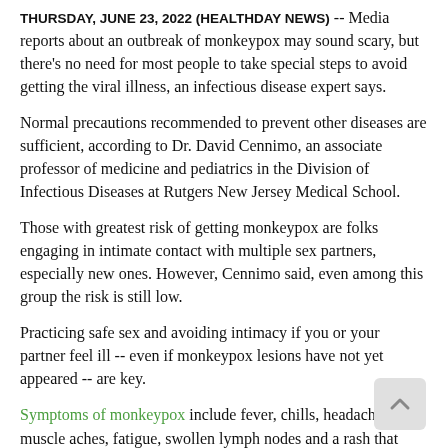THURSDAY, June 23, 2022 (HealthDay News) -- Media reports about an outbreak of monkeypox may sound scary, but there's no need for most people to take special steps to avoid getting the viral illness, an infectious disease expert says.
Normal precautions recommended to prevent other diseases are sufficient, according to Dr. David Cennimo, an associate professor of medicine and pediatrics in the Division of Infectious Diseases at Rutgers New Jersey Medical School.
Those with greatest risk of getting monkeypox are folks engaging in intimate contact with multiple sex partners, especially new ones. However, Cennimo said, even among this group the risk is still low.
Practicing safe sex and avoiding intimacy if you or your partner feel ill -- even if monkeypox lesions have not yet appeared -- are key.
Symptoms of monkeypox include fever, chills, headache, muscle aches, fatigue, swollen lymph nodes and a rash that turns into pus-filled blisters, or lesions. But not everyone infected with the virus develops all of these symptoms.
Cennimo said it doesn't appear that monkeypox spreads from people who have no symptoms. But it seems to be more contagious once flu-